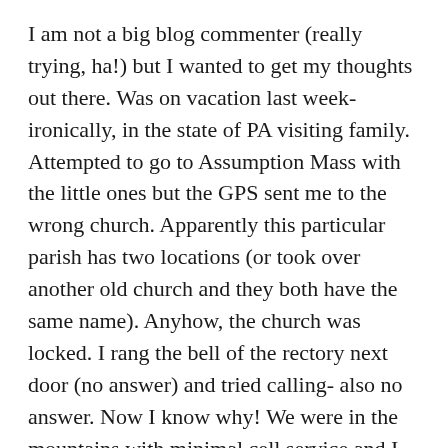I am not a big blog commenter (really trying, ha!) but I wanted to get my thoughts out there. Was on vacation last week- ironically, in the state of PA visiting family. Attempted to go to Assumption Mass with the little ones but the GPS sent me to the wrong church. Apparently this particular parish has two locations (or took over another old church and they both have the same name). Anyhow, the church was locked. I rang the bell of the rectory next door (no answer) and tried calling- also no answer. Now I know why! We were in the mountains with minimal cell service and I didn’t find out what was going on until the evening news.
There are a thousand arguments as to why this happened and why the coverups continue. It’s just so sad. Like many have said, there were no mentions whatsoever during Sunday’s homily back at home. My pastor looked like he had been through the ringer but said nothing. Some allusions, maybe. The silence is deafening. Unfortunately my opinion